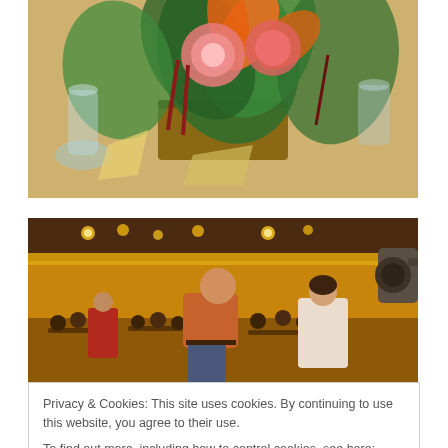[Figure (photo): Close-up photo of a floral centerpiece arrangement with orange, pink, and red flowers, green leaves, on a table with glassware]
[Figure (photo): Photo of a wedding reception dance floor scene in a ballroom with warm yellow lighting, showing a bald man in orange shirt dancing, a bride in white dress, and seated guests in background]
Privacy & Cookies: This site uses cookies. By continuing to use this website, you agree to their use.
To find out more, including how to control cookies, see here: Cookie Policy
Close and accept
Check out this fun slideshow by Ryan of